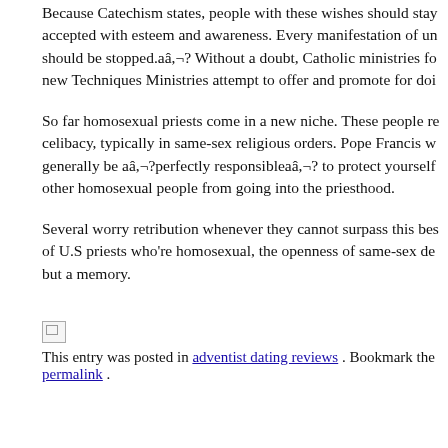Because Catechism states, people with these wishes should stay accepted with esteem and awareness. Every manifestation of un should be stopped.aâ,¬? Without a doubt, Catholic ministries fo new Techniques Ministries attempt to offer and promote for doi
So far homosexual priests come in a new niche. These people re celibacy, typically in same-sex religious orders. Pope Francis w generally be aâ,¬?perfectly responsibleaâ,¬? to protect yourself other homosexual people from going into the priesthood.
Several worry retribution whenever they cannot surpass this bes of U.S priests who're homosexual, the openness of same-sex de but a memory.
[Figure (other): Broken/loading image icon]
This entry was posted in adventist dating reviews . Bookmark the permalink .